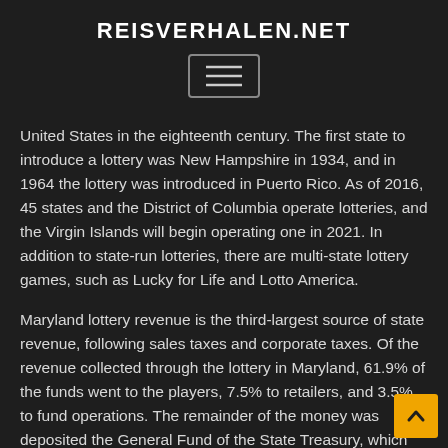REISVERHALEN.NET
[Figure (other): Hamburger menu button icon with three horizontal lines inside a rounded rectangle border]
United States in the eighteenth century. The first state to introduce a lottery was New Hampshire in 1934, and in 1964 the lottery was introduced in Puerto Rico. As of 2016, 45 states and the District of Columbia operate lotteries, and the Virgin Islands will begin operating one in 2021. In addition to state-run lotteries, there are multi-state lottery games, such as Lucky for Life and Lotto America.
Maryland lottery revenue is the third-largest source of state revenue, following sales taxes and corporate taxes. Of the revenue collected through the lottery in Maryland, 61.9% of the funds went to the players, 7.5% to retailers, and 3.5% to fund operations. The remainder of the money was deposited the General Fund of the State Treasury, which supports